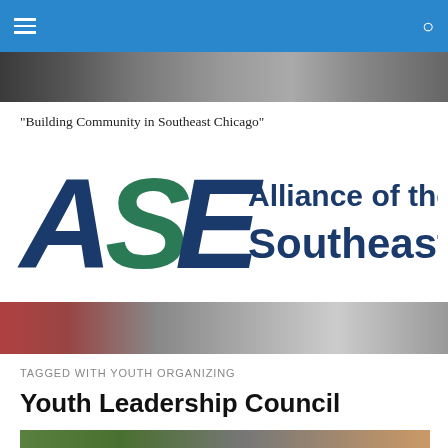Navigation bar with hamburger menu and search icon
[Figure (photo): Top photo strip showing people at a community event]
"Building Community in Southeast Chicago"
[Figure (logo): Alliance of the Southeast logo with ASE letters in dark blue and green]
[Figure (photo): Second photo strip showing community members]
TAGGED WITH YOUTH ORGANIZING
Youth Leadership Council
[Figure (photo): Bottom image with red bold text reading Youth Leadership]